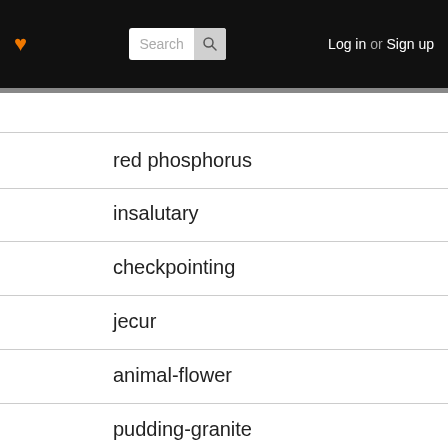♥ [Search] Log in or Sign up
red phosphorus
insalutary
checkpointing
jecur
animal-flower
pudding-granite
cratch cradle
leech-line block